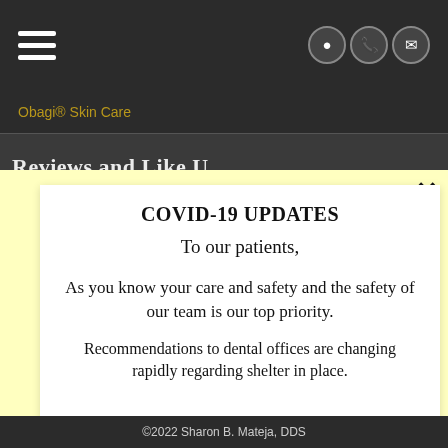Obagi® Skin Care
Reviews and Like Us
COVID-19 UPDATES
To our patients,
As you know your care and safety and the safety of our team is our top priority.
Recommendations to dental offices are changing rapidly regarding shelter in place.
©2022 Sharon B. Mateja, DDS